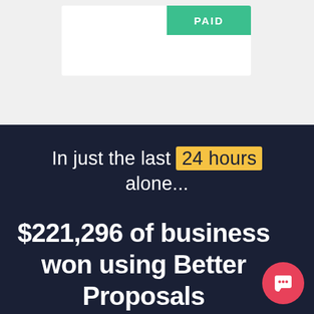[Figure (screenshot): Top portion showing a white card/document area with a green PAID badge in upper right, on a light grey background.]
In just the last 24 hours alone...
$221,296 of business won using Better Proposals